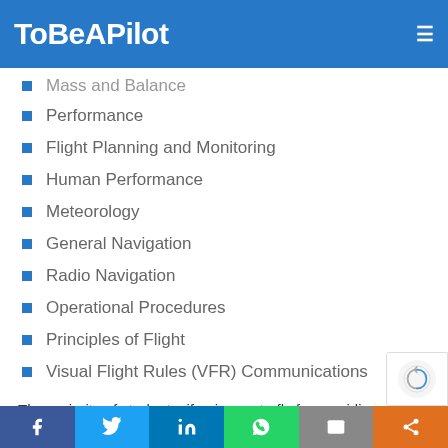ToBeAPilot
Mass and Balance
Performance
Flight Planning and Monitoring
Human Performance
Meteorology
General Navigation
Radio Navigation
Operational Procedures
Principles of Flight
Visual Flight Rules (VFR) Communications
The majority of students, if going on to fly for an airline or commercial operate will elect to complete the full ATPL examinations which now, under new rules, only adds more exam to the list. IFR Communications
Facebook | Twitter | LinkedIn | WhatsApp | Email | Share